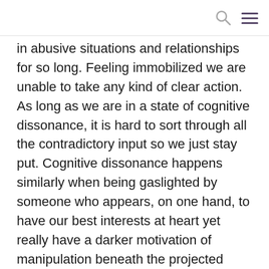[search icon] [menu icon]
in abusive situations and relationships for so long. Feeling immobilized we are unable to take any kind of clear action. As long as we are in a state of cognitive dissonance, it is hard to sort through all the contradictory input so we just stay put. Cognitive dissonance happens similarly when being gaslighted by someone who appears, on one hand, to have our best interests at heart yet really have a darker motivation of manipulation beneath the projected goodness or concern.
This is also a common state for trauma survivors where the sense of safety has been so damaged that